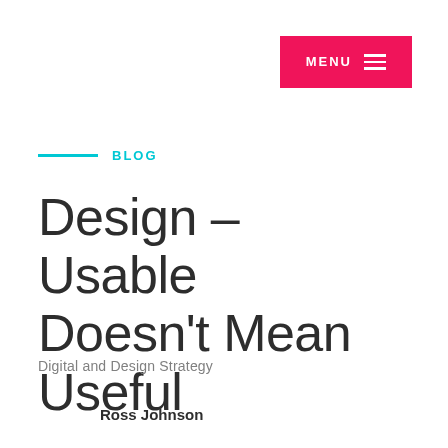[Figure (other): Pink/red MENU button with hamburger icon in top-right corner]
BLOG
Design – Usable Doesn't Mean Useful
Digital and Design Strategy
Ross Johnson